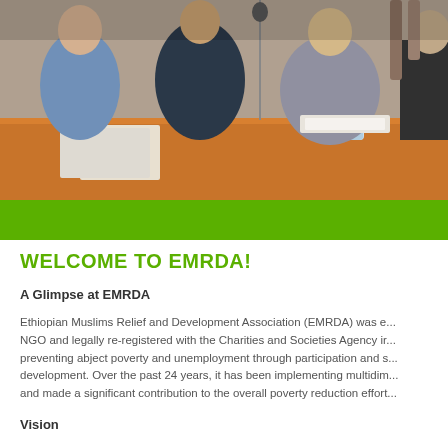[Figure (photo): Group of people seated at a table with an orange tablecloth, appearing to be in a meeting or conference setting. A water bottle is visible on the table.]
WELCOME TO EMRDA!
A Glimpse at EMRDA
Ethiopian Muslims Relief and Development Association (EMRDA) was e... NGO and legally re-registered with the Charities and Societies Agency ir... preventing abject poverty and unemployment through participation and s... development. Over the past 24 years, it has been implementing multidim... and made a significant contribution to the overall poverty reduction effort...
Vision